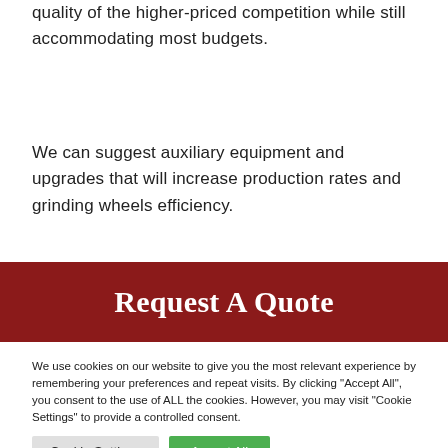quality of the higher-priced competition while still accommodating most budgets.
We can suggest auxiliary equipment and upgrades that will increase production rates and grinding wheels efficiency.
[Figure (other): Dark red banner button with white bold text reading 'Request A Quote']
We use cookies on our website to give you the most relevant experience by remembering your preferences and repeat visits. By clicking "Accept All", you consent to the use of ALL the cookies. However, you may visit "Cookie Settings" to provide a controlled consent.
Cookie Settings | Accept All